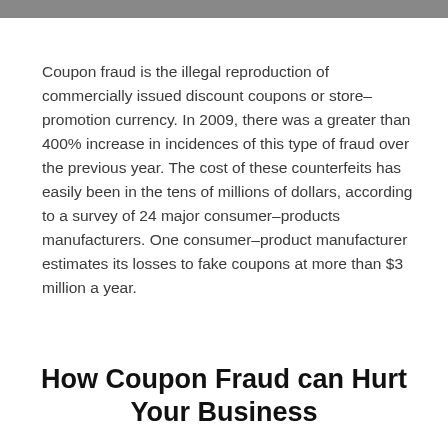Coupon fraud is the illegal reproduction of commercially issued discount coupons or store–promotion currency. In 2009, there was a greater than 400% increase in incidences of this type of fraud over the previous year. The cost of these counterfeits has easily been in the tens of millions of dollars, according to a survey of 24 major consumer–products manufacturers. One consumer–product manufacturer estimates its losses to fake coupons at more than $3 million a year.
How Coupon Fraud can Hurt Your Business